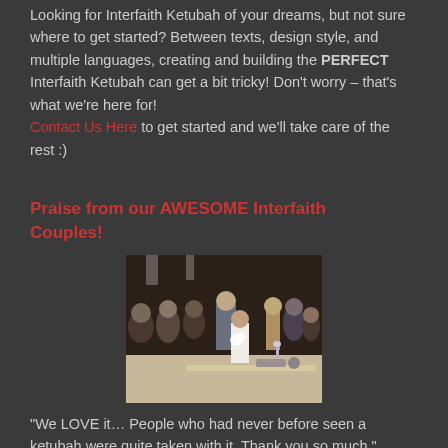Looking for Interfaith Ketubah of your dreams, but not sure where to get started? Between texts, design style, and multiple languages, creating and building the PERFECT Interfaith Ketubah can get a bit tricky! Don't worry – that's what we're here for! Contact Us Here to get started and we'll take care of the rest :)
Praise from our AWESOME Interfaith Couples!
[Figure (photo): Wedding ceremony photo showing a couple at an altar with guests and officiants around them, taken indoors at what appears to be a reception hall or venue.]
"We LOVE it… People who had never before seen a ketubah were quite taken with it. Thank you so much."